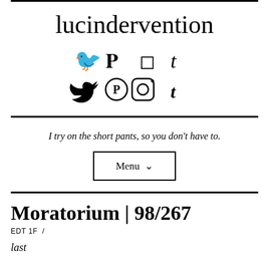lucindervention
[Figure (other): Social media icons: Twitter, Pinterest, Instagram, Tumblr]
I try on the short pants, so you don't have to.
Menu ∨
Moratorium | 98/267
EDT 1f  /
last